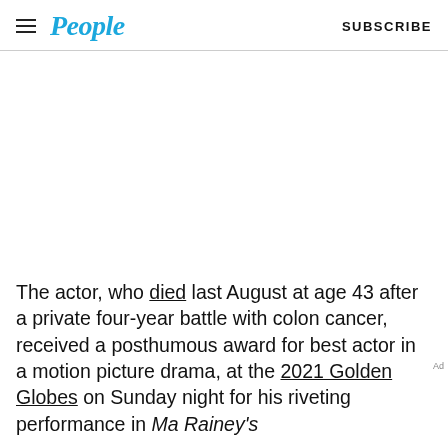People  SUBSCRIBE
[Figure (other): Blank white advertisement/image area]
The actor, who died last August at age 43 after a private four-year battle with colon cancer, received a posthumous award for best actor in a motion picture drama, at the 2021 Golden Globes on Sunday night for his riveting performance in Ma Rainey's